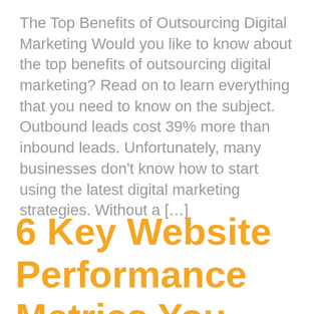The Top Benefits of Outsourcing Digital Marketing Would you like to know about the top benefits of outsourcing digital marketing? Read on to learn everything that you need to know on the subject. Outbound leads cost 39% more than inbound leads. Unfortunately, many businesses don't know how to start using the latest digital marketing strategies. Without a […]
6 Key Website Performance Metrics You Need to Be Tracking